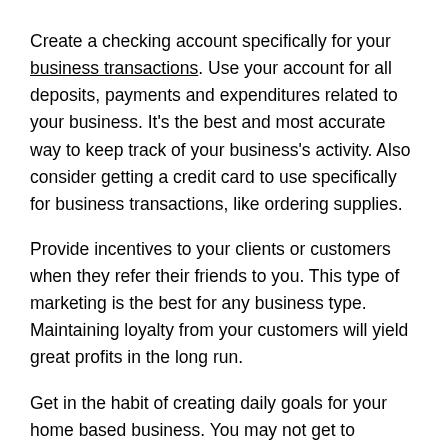Create a checking account specifically for your business transactions. Use your account for all deposits, payments and expenditures related to your business. It's the best and most accurate way to keep track of your business's activity. Also consider getting a credit card to use specifically for business transactions, like ordering supplies.
Provide incentives to your clients or customers when they refer their friends to you. This type of marketing is the best for any business type. Maintaining loyalty from your customers will yield great profits in the long run.
Get in the habit of creating daily goals for your home based business. You may not get to everything everyday, but goals can keep you working towards accomplishing what needs to be done. Allow yourself to have concrete benchmarks that you meet setting them out to reach and